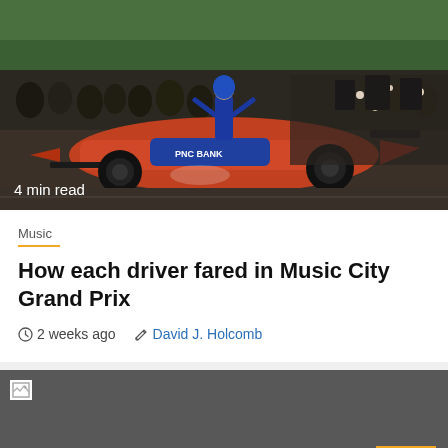[Figure (photo): Race car (blue and orange IndyCar) with a driver celebrating on top, surrounded by a crowd of spectators and media photographers. Green trees in the background.]
4 min read
Music
How each driver fared in Music City Grand Prix
2 weeks ago   David J. Holcomb
[Figure (photo): Second article image, appears broken/not loaded. Dark gray background with a small broken image icon in the top-left corner.]